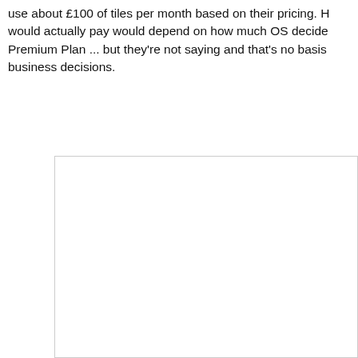use about £100 of tiles per month based on their pricing. H would actually pay would depend on how much OS decide Premium Plan ... but they're not saying and that's no basis business decisions.
[Figure (other): A blank white rectangular box with a light gray border, occupying the lower portion of the page.]